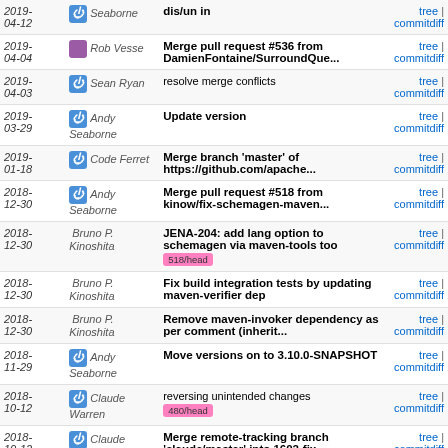| Date | Author | Message | Links |
| --- | --- | --- | --- |
| 2019-04-12 | Seaborne | dis/un in | tree | commitdiff |
| 2019-04-04 | Rob Vesse | Merge pull request #536 from DamienFontaine/SurroundQue... | tree | commitdiff |
| 2019-04-03 | Sean Ryan | resolve merge conflicts | tree | commitdiff |
| 2019-03-29 | Andy Seaborne | Update version | tree | commitdiff |
| 2019-01-18 | Code Ferret | Merge branch 'master' of https://github.com/apache... | tree | commitdiff |
| 2018-12-30 | Andy Seaborne | Merge pull request #518 from kinow/fix-schemagen-maven... | tree | commitdiff |
| 2018-12-30 | Bruno P. Kinoshita | JENA-204: add lang option to schemagen via maven-tools too [518/head] | tree | commitdiff |
| 2018-12-30 | Bruno P. Kinoshita | Fix build integration tests by updating maven-verifier dep | tree | commitdiff |
| 2018-12-30 | Bruno P. Kinoshita | Remove maven-invoker dependency as per comment (inherit... | tree | commitdiff |
| 2018-11-29 | Andy Seaborne | Move versions on to 3.10.0-SNAPSHOT | tree | commitdiff |
| 2018-10-12 | Claude Warren | reversing unintended changes [480/head] | tree | commitdiff |
| 2018-10-12 | Claude Warren | Merge remote-tracking branch 'claude/master' into 1602-fix | tree | commitdiff |
| 2018-10-07 | Claude Warren | Merge branch 'master' into 1602-fix | tree | commitdiff |